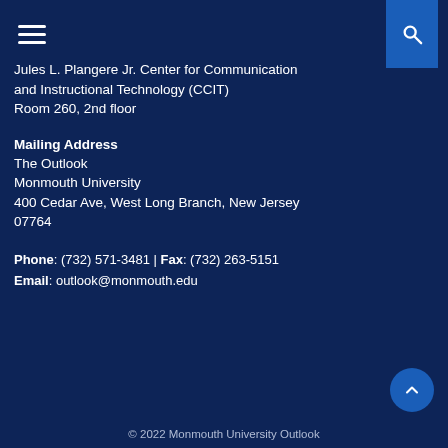Jules L. Plangere Jr. Center for Communication and Instructional Technology (CCIT)
Room 260, 2nd floor
Mailing Address
The Outlook
Monmouth University
400 Cedar Ave, West Long Branch, New Jersey 07764
Phone: (732) 571-3481 | Fax: (732) 263-5151
Email: outlook@monmouth.edu
© 2022 Monmouth University Outlook